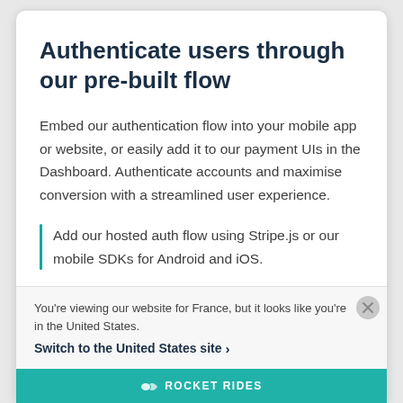Authenticate users through our pre-built flow
Embed our authentication flow into your mobile app or website, or easily add it to our payment UIs in the Dashboard. Authenticate accounts and maximise conversion with a streamlined user experience.
Add our hosted auth flow using Stripe.js or our mobile SDKs for Android and iOS.
You're viewing our website for France, but it looks like you're in the United States. Switch to the United States site ›
ROCKET RIDES